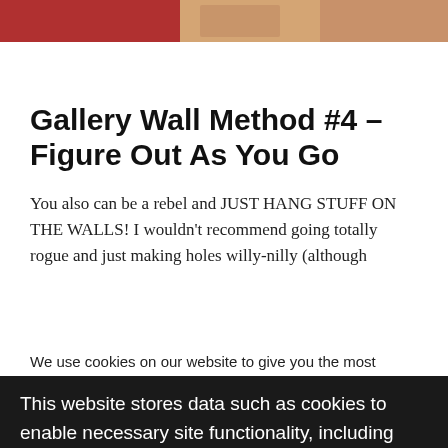[Figure (photo): Partial photo strip at top of page showing red and tan/orange colored objects]
Gallery Wall Method #4 – Figure Out As You Go
You also can be a rebel and JUST HANG STUFF ON THE WALLS! I wouldn't recommend going totally rogue and just making holes willy-nilly (although
We use cookies on our website to give you the most relevant experience by remembering your preferences and repeat visits. By clicking "Accept All", you consent to the use of ALL t… provide a controlled consent.
This website stores data such as cookies to enable necessary site functionality, including analytics, targeting, and personalization. By remaining on this website you indicate your consent Cookie Policy